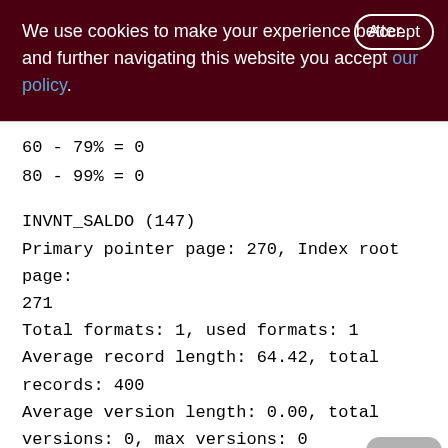We use cookies to make your experience better. By accepting and further navigating this website you accept our policy.
60 - 79% = 0
80 - 99% = 0
INVNT_SALDO (147)
Primary pointer page: 270, Index root page: 271
Total formats: 1, used formats: 1
Average record length: 64.42, total records: 400
Average version length: 0.00, total versions: 0, max versions: 0
Average fragment length: 17.53, total fragments: 271 max fragments: 1